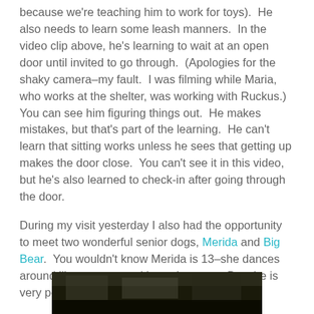because we're teaching him to work for toys).  He also needs to learn some leash manners.  In the video clip above, he's learning to wait at an open door until invited to go through.  (Apologies for the shaky camera–my fault.  I was filming while Maria, who works at the shelter, was working with Ruckus.)  You can see him figuring things out.  He makes mistakes, but that's part of the learning.  He can't learn that sitting works unless he sees that getting up makes the door close.  You can't see it in this video, but he's also learned to check-in after going through the door.
During my visit yesterday I also had the opportunity to meet two wonderful senior dogs, Merida and Big Bear.  You wouldn't know Merida is 13–she dances around like a puppy and loves her toys.  But she is very polite when she plays.
[Figure (photo): A dark photo strip at the bottom of the page, partially visible, appearing to show an animal or outdoor scene in very low light.]